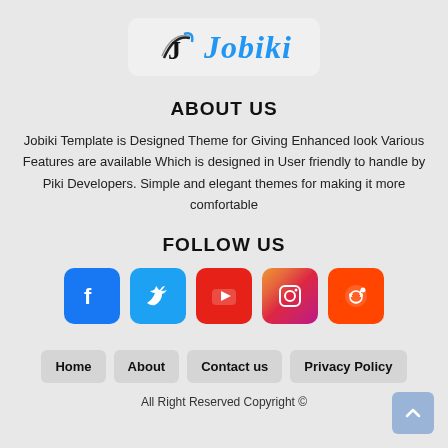[Figure (logo): Jobiki logo with stylized J icon and blue italic text 'Jobiki']
ABOUT US
Jobiki Template is Designed Theme for Giving Enhanced look Various Features are available Which is designed in User friendly to handle by Piki Developers. Simple and elegant themes for making it more comfortable
FOLLOW US
[Figure (infographic): Social media icons row: Facebook, Twitter, YouTube, Instagram, Reddit]
Home
About
Contact us
Privacy Policy
All Right Reserved Copyright ©